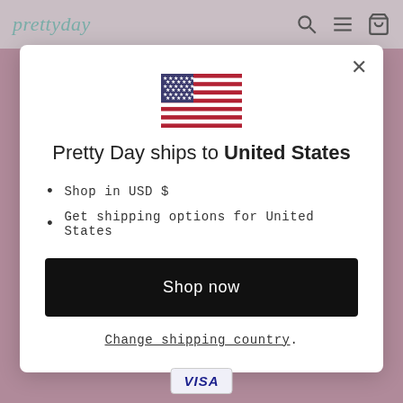prettyday
[Figure (illustration): US flag emoji/icon, rectangular with stars and stripes]
Pretty Day ships to United States
Shop in USD $
Get shipping options for United States
Shop now
Change shipping country
[Figure (logo): VISA payment logo badge]